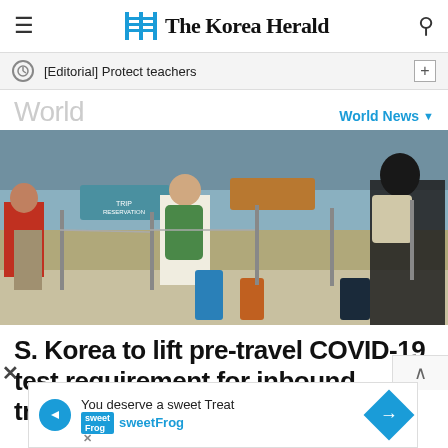The Korea Herald
[Editorial] Protect teachers
World
World News
[Figure (photo): Airport scene with travelers standing in queue with luggage, viewed from behind. People carrying backpacks and rolling suitcases near check-in counters with directional signs overhead.]
S. Korea to lift pre-travel COVID-19 test requirement for inbound travelers this week
You deserve a sweet Treat sweetFrog